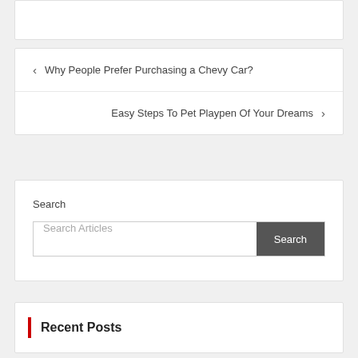< Why People Prefer Purchasing a Chevy Car?
Easy Steps To Pet Playpen Of Your Dreams >
Search
Search Articles
Recent Posts